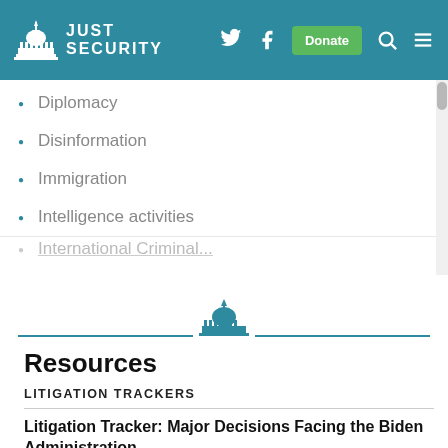JUST SECURITY
Diplomacy
Disinformation
Immigration
Intelligence activities
[Figure (logo): Just Security capitol building logo with horizontal line divider]
Resources
LITIGATION TRACKERS
Litigation Tracker: Major Decisions Facing the Biden Administration
by Karl Mihm, Justin Cole, Iva Petkova, Margaret Shields, Mari Dugas, Nicholas Tonckens and Tess Bridgeman
Nov 19th, 2021